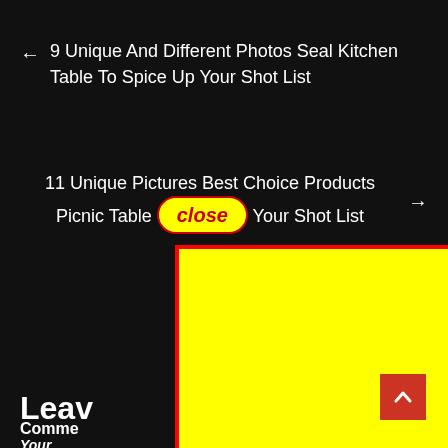← 9 Unique And Different Photos Seal Kitchen Table To Spice Up Your Shot List
11 Unique Pictures Best Choice Products Picnic Table [close] Your Shot List →
[Figure (screenshot): Yellow rectangle with red border overlaying part of the page, functioning as a UI overlay/ad covering content below]
Leav
Your em… elds are marked
Comme
[Figure (other): Red back-to-top button with upward chevron arrow]